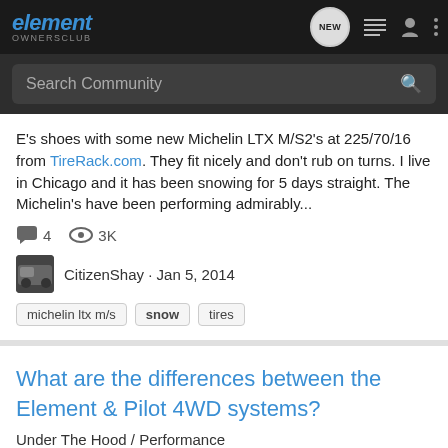element OWNERSCLUB
Search Community
E's shoes with some new Michelin LTX M/S2's at 225/70/16 from TireRack.com. They fit nicely and don't rub on turns. I live in Chicago and it has been snowing for 5 days straight. The Michelin's have been performing admirably...
4   3K
CitizenShay · Jan 5, 2014
michelin ltx m/s
snow
tires
What are the differences between the Element & Pilot 4WD systems?
Under The Hood / Performance
I just wanted to know what the differences between the Element & Pilot 4WD systems. Also, which system would be